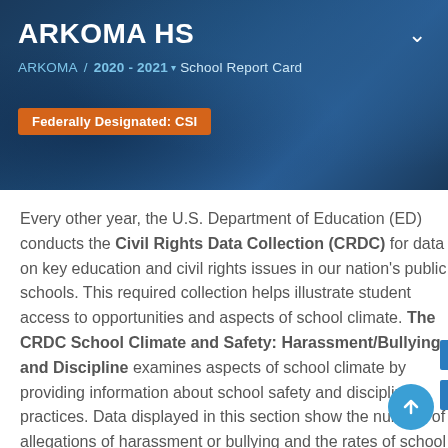ARKOMA HS
ARKOMA / 2020 - 2021 ▾ School Report Card
Federally Designated: CSI
Every other year, the U.S. Department of Education (ED) conducts the Civil Rights Data Collection (CRDC) for data on key education and civil rights issues in our nation's public schools. This required collection helps illustrate student access to opportunities and aspects of school climate. The CRDC School Climate and Safety: Harassment/Bullying and Discipline examines aspects of school climate by providing information about school safety and discipline practices. Data displayed in this section show the number of allegations of harassment or bullying and the rates of school discipline by student group.
Note: All data presented in this section are reported by school districts to ED. The Oklahoma Department of Education (OSDE) does not collect or validate these